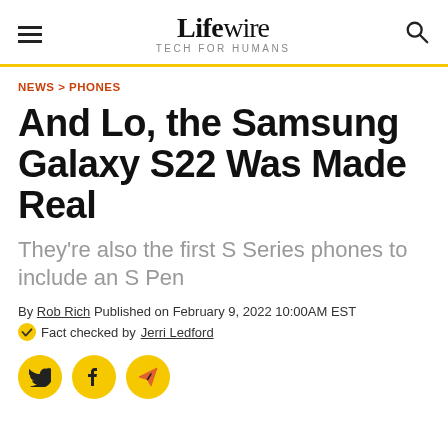Lifewire TECH FOR HUMANS
NEWS > PHONES
And Lo, the Samsung Galaxy S22 Was Made Real
They're also the first S Series phones to include an S Pen
By Rob Rich Published on February 9, 2022 10:00AM EST
Fact checked by Jerri Ledford
[Figure (other): Social share buttons: Twitter, Facebook, and email/send icons on yellow circular buttons]